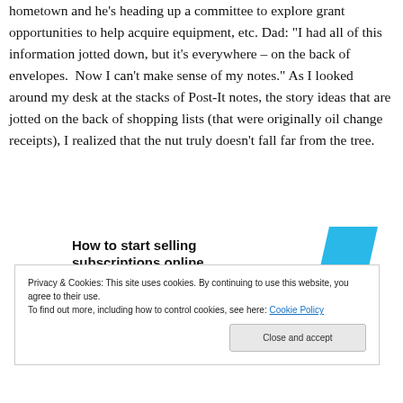hometown and he's heading up a committee to explore grant opportunities to help acquire equipment, etc. Dad: “I had all of this information jotted down, but it’s everywhere – on the back of envelopes. Now I can’t make sense of my notes.” As I looked around my desk at the stacks of Post-It notes, the story ideas that are jotted on the back of shopping lists (that were originally oil change receipts), I realized that the nut truly doesn’t fall far from the tree.
[Figure (infographic): Ad banner: 'How to start selling subscriptions online' with cyan/blue parallelogram shape on the right]
Privacy & Cookies: This site uses cookies. By continuing to use this website, you agree to their use.
To find out more, including how to control cookies, see here: Cookie Policy
Close and accept